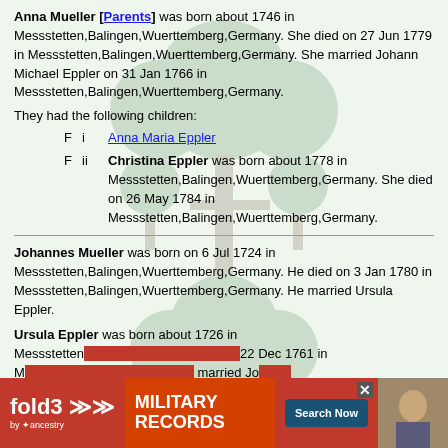Anna Mueller [Parents] was born about 1746 in Messstetten,Balingen,Wuerttemberg,Germany. She died on 27 Jun 1779 in Messstetten,Balingen,Wuerttemberg,Germany. She married Johann Michael Eppler on 31 Jan 1766 in Messstetten,Balingen,Wuerttemberg,Germany.
They had the following children:
F  i  Anna Maria Eppler
F  ii  Christina Eppler was born about 1778 in Messstetten,Balingen,Wuerttemberg,Germany. She died on 26 May 1784 in Messstetten,Balingen,Wuerttemberg,Germany.
Johannes Mueller was born on 6 Jul 1724 in Messstetten,Balingen,Wuerttemberg,Germany. He died on 3 Jan 1780 in Messstetten,Balingen,Wuerttemberg,Germany. He married Ursula Eppler.
Ursula Eppler was born about 1726 in Messstetten... 22 Dec 1761 in M... married Jo...
[Figure (infographic): Fold3 Military Records advertisement banner with red background, logo, and Search Now button]